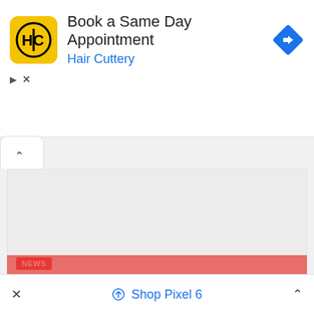[Figure (logo): Hair Cuttery HC logo — yellow square with rounded corners, black circular HC monogram]
Book a Same Day Appointment
Hair Cuttery
[Figure (illustration): Blue diamond-shaped navigation/directions icon with white arrow pointing right]
[Figure (photo): Article hero image placeholder (light gray) with NEWS badge in red]
OnePlus 7 series gains August 2022 patch update
AUGUST 20, 2022
Shop Pixel 6